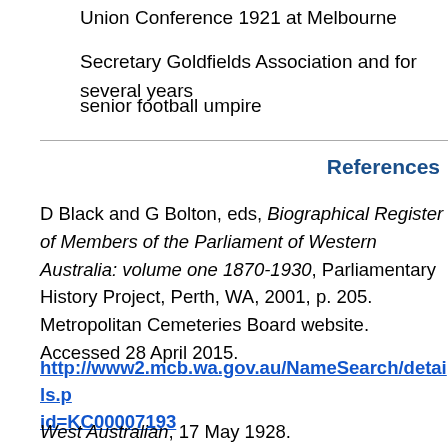Union Conference 1921 at Melbourne
Secretary Goldfields Association and for several years
senior football umpire
References
D Black and G Bolton, eds, Biographical Register of Members of the Parliament of Western Australia: volume one 1870-1930, Parliamentary History Project, Perth, WA, 2001, p. 205. Metropolitan Cemeteries Board website. Accessed 28 April 2015.
http://www2.mcb.wa.gov.au/NameSearch/details.p id=KC00007193
West Australian, 17 May 1928.